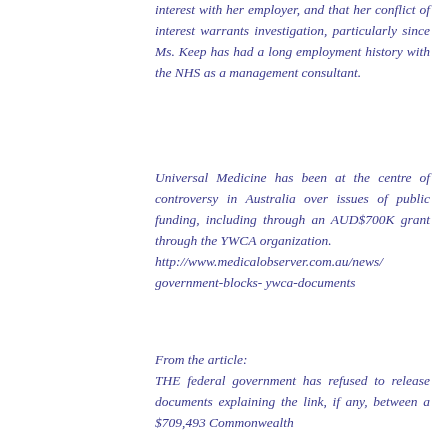interest with her employer, and that her conflict of interest warrants investigation, particularly since Ms. Keep has had a long employment history with the NHS as a management consultant.
Universal Medicine has been at the centre of controversy in Australia over issues of public funding, including through an AUD$700K grant through the YWCA organization. http://www.medicalobserver.com.au/news/government-blocks- ywca-documents
From the article: THE federal government has refused to release documents explaining the link, if any, between a $709,493 Commonwealth